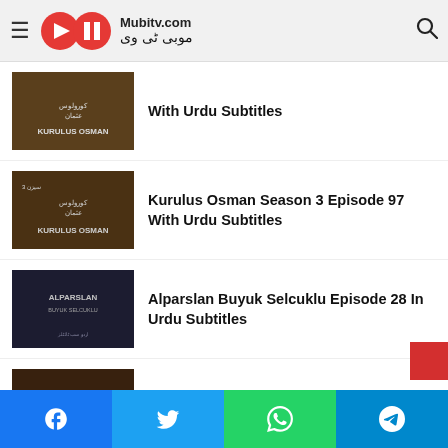[Figure (logo): Mubitv.com logo with double circle play/pause icon and Urdu text]
With Urdu Subtitles
Kurulus Osman Season 3 Episode 97 With Urdu Subtitles
Alparslan Buyuk Selcuklu Episode 28 In Urdu Subtitles
Barbarossa Episode 33 With Urdu Subtitles
[Figure (infographic): Social share bar with Facebook, Twitter, WhatsApp, Telegram buttons]